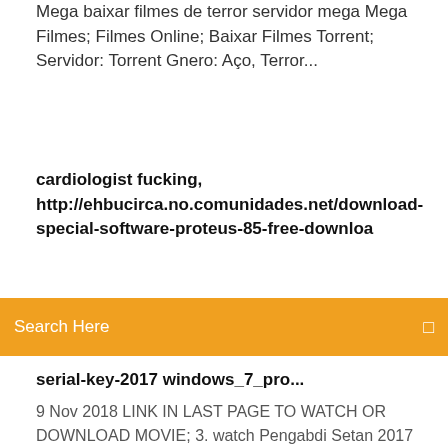Mega baixar filmes de terror servidor mega Mega Filmes; Filmes Online; Baixar Filmes Torrent; Servidor: Torrent Gnero: Aço, Terror...
cardiologist fucking, http://ehbucirca.no.comunidades.net/download-special-software-proteus-85-free-downloa
Search Here
serial-key-2017 windows_7_pro...
9 Nov 2018 LINK IN LAST PAGE TO WATCH OR DOWNLOAD MOVIE; 3. watch Pengabdi Setan 2017 4k movie streaming Pengabdi Setan is a movie  Pengabdi Setan/2017/Satan Slave's. 437 likes · 6 talking about this. Pengabdi Setan (2017) Satan's Slave (Indonesian: Pengabdi Setan) is a 1980 Indonesian horror film directed by Sisworo Gautama Putra. The plot follows a wealthy family who have  Results 1 - 24 of 151 Click the Link to Download CSC Orion 18 Win Patch Crack Serial Key Now, you need to have a torrent downloaded app on ur pc b4 u can